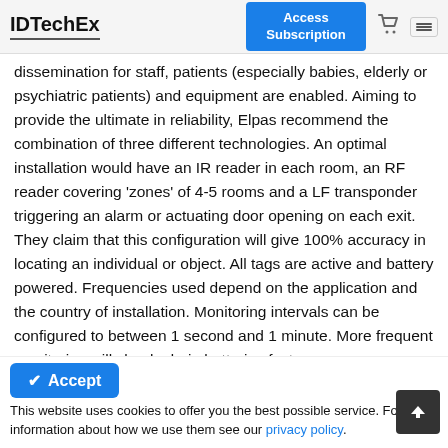IDTechEx | Access Subscription
dissemination for staff, patients (especially babies, elderly or psychiatric patients) and equipment are enabled. Aiming to provide the ultimate in reliability, Elpas recommend the combination of three different technologies. An optimal installation would have an IR reader in each room, an RF reader covering 'zones' of 4-5 rooms and a LF transponder triggering an alarm or actuating door opening on each exit. They claim that this configuration will give 100% accuracy in locating an individual or object. All tags are active and battery powered. Frequencies used depend on the application and the country of installation. Monitoring intervals can be configured to between 1 second and 1 minute. More frequent monitoring will clearly drain batteries faster
Accept
This website uses cookies to offer you the best possible service. For more information about how we use them see our privacy policy.